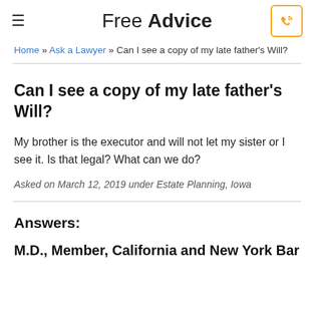Free Advice
Home » Ask a Lawyer » Can I see a copy of my late father's Will?
Can I see a copy of my late father's Will?
My brother is the executor and will not let my sister or I see it. Is that legal? What can we do?
Asked on March 12, 2019 under Estate Planning, Iowa
Answers:
M.D., Member, California and New York Bar